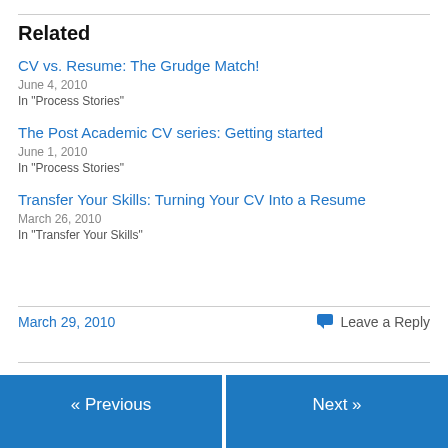Related
CV vs. Resume: The Grudge Match!
June 4, 2010
In "Process Stories"
The Post Academic CV series: Getting started
June 1, 2010
In "Process Stories"
Transfer Your Skills: Turning Your CV Into a Resume
March 26, 2010
In "Transfer Your Skills"
March 29, 2010   💬 Leave a Reply
« Previous    Next »